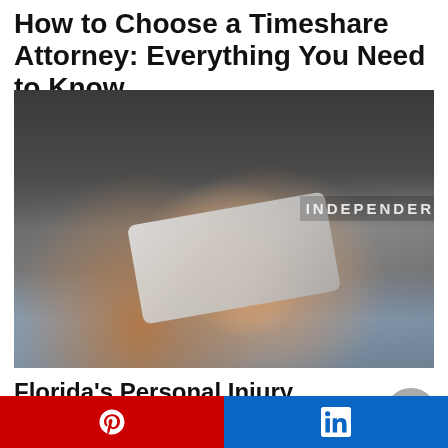How to Choose a Timeshare Attorney: Everything You Need to Know
[Figure (photo): Close-up photo of a person wearing a dark grey shirt and jeans, wrapping or holding a bandaged wrist/hand. Watermark text 'INDEPENDER' visible in upper right corner of image.]
Florida's Personal Injury Law: Understanding Vicarious Liability
[Figure (photo): Partially visible image at the bottom of the page, showing a red background on the left and blue on the right.]
Pinterest | LinkedIn social share buttons